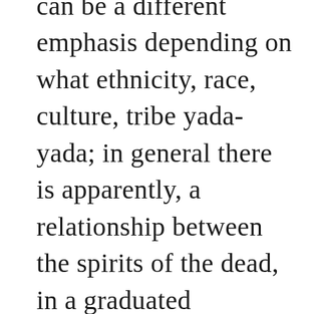can be a different emphasis depending on what ethnicity, race, culture, tribe yada-yada; in general there is apparently, a relationship between the spirits of the dead, in a graduated hierarchy of important ancestors as heroes, and lesser spirits – perhaps of another class than ancestors